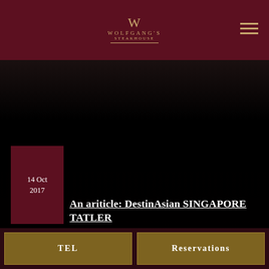Wolfgang's Steakhouse
[Figure (photo): Dark background image, nearly black, restaurant photo]
14 Oct 2017
An ariticle: DestinAsian SINGAPORE TATLER
« 1 2 3 4 5 »
TEL
Reservations